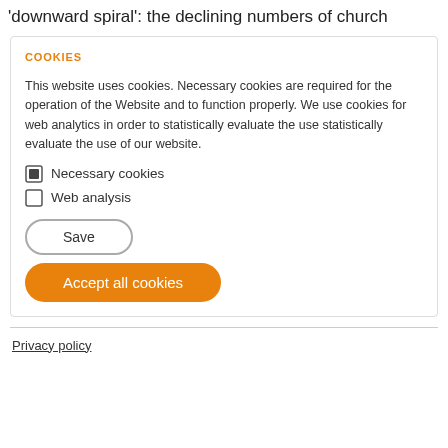'downward spiral': the declining numbers of church
COOKIES
This website uses cookies. Necessary cookies are required for the operation of the Website and to function properly. We use cookies for web analytics in order to statistically evaluate the use statistically evaluate the use of our website.
Necessary cookies (checked)
Web analysis (unchecked)
Save
Accept all cookies
Privacy policy